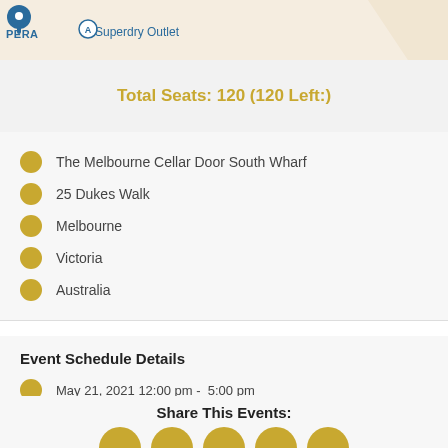[Figure (screenshot): Map strip showing partial map with PERA label, map pin icon, and Superdry Outlet label with icon]
Total Seats: 120 (120 Left:)
The Melbourne Cellar Door South Wharf
25 Dukes Walk
Melbourne
Victoria
Australia
Event Schedule Details
May 21, 2021 12:00 pm -  5:00 pm
Share This Events:
[Figure (illustration): Five golden circular social media share icons in a row]